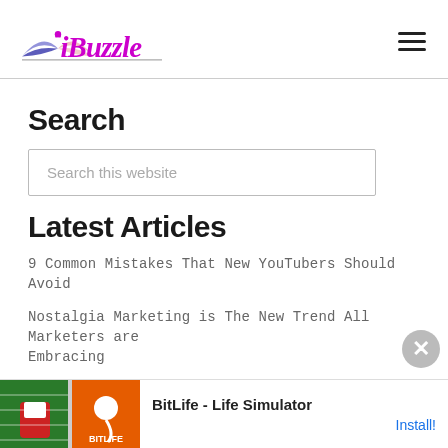iBuzzle
Search
Search this website
Latest Articles
9 Common Mistakes That New YouTubers Should Avoid
Nostalgia Marketing is The New Trend All Marketers are Embracing
Cool Restaurant Board Ideas
Interesting Stories Behind Big Brand Names
[Figure (screenshot): Advertisement banner for BitLife - Life Simulator app showing Ad label, game imagery, app title and Install button]